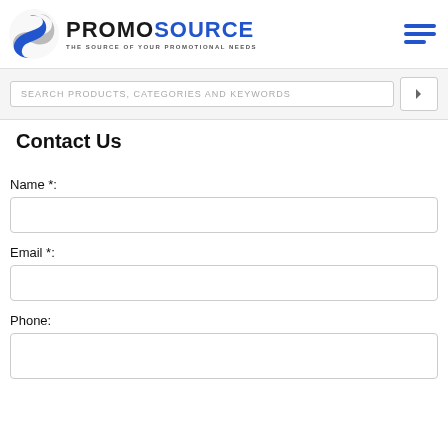[Figure (logo): PromoSource logo with circular S graphic and tagline 'THE SOURCE OF YOUR PROMOTIONAL NEEDS']
[Figure (other): Hamburger menu icon with three blue horizontal bars]
SEARCH PRODUCTS, CATEGORIES AND KEYWORDS
Contact Us
Name *:
Email *:
Phone: